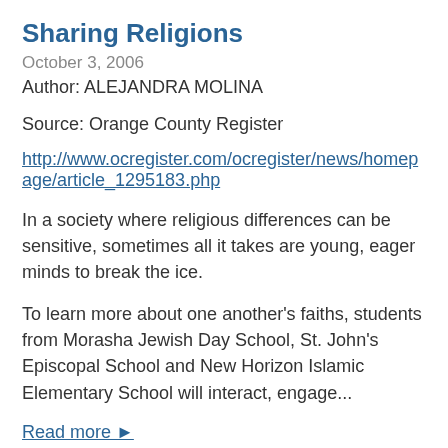Sharing Religions
October 3, 2006
Author: ALEJANDRA MOLINA
Source: Orange County Register
http://www.ocregister.com/ocregister/news/homepage/article_1295183.php
In a society where religious differences can be sensitive, sometimes all it takes are young, eager minds to break the ice.
To learn more about one another's faiths, students from Morasha Jewish Day School, St. John's Episcopal School and New Horizon Islamic Elementary School will interact, engage...
Read more ▶